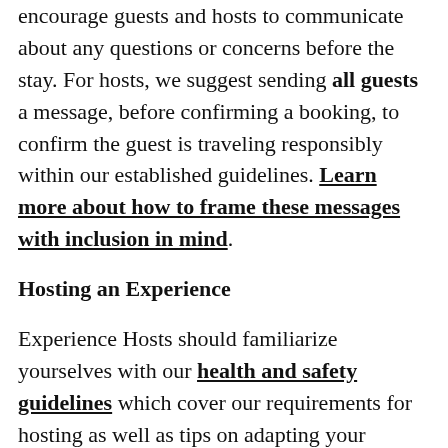encourage guests and hosts to communicate about any questions or concerns before the stay. For hosts, we suggest sending all guests a message, before confirming a booking, to confirm the guest is traveling responsibly within our established guidelines. Learn more about how to frame these messages with inclusion in mind.
Hosting an Experience
Experience Hosts should familiarize yourselves with our health and safety guidelines which cover our requirements for hosting as well as tips on adapting your experience for local regulations. For hosts who bring guests to their homes and/or serve food, you should also check out our cleaning and food safety guidelines.